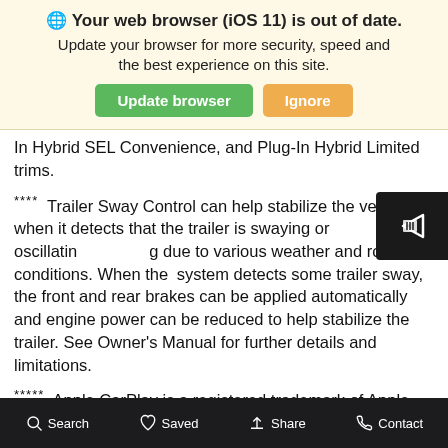[Figure (screenshot): Browser update notification banner with globe icon, heading 'Your web browser (iOS 11) is out of date.', subtext 'Update your browser for more security, speed and the best experience on this site.', and two buttons: green 'Update browser' and orange 'Ignore'.]
In Hybrid SEL Convenience, and Plug-In Hybrid Limited trims.
**** Trailer Sway Control can help stabilize the vehicle when it detects that the trailer is swaying or oscillating due to various weather and road conditions. When the system detects some trailer sway, the front and rear brakes can be applied automatically and engine power can be reduced to help stabilize the trailer. See Owner's Manual for further details and limitations.
***** Apple CarPlay is a registered trademark of Apple Inc. Android Auto is compatible with Android phones running Android 6.0 or higher. Android Auto may not be available
Search   Saved   Share   Contact